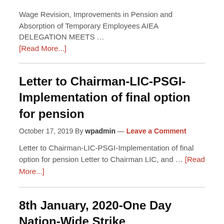Wage Revision, Improvements in Pension and Absorption of Temporary Employees AIEA DELEGATION MEETS … [Read More...]
Letter to Chairman-LIC-PSGI-Implementation of final option for pension
October 17, 2019 By wpadmin — Leave a Comment
Letter to Chairman-LIC-PSGI-Implementation of final option for pension Letter to Chairman LIC, and … [Read More...]
8th January, 2020-One Day Nation-Wide Strike